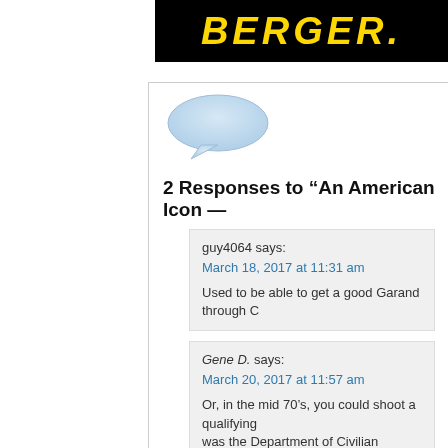[Figure (logo): Berger logo in yellow italic text on black background]
[Figure (illustration): Light blue speech bubble / comment icon]
2 Responses to “An American Icon —
guy4064 says:
March 18, 2017 at 11:31 am
Used to be able to get a good Garand through C
Gene D. says:
March 20, 2017 at 11:57 am
Or, in the mid 70’s, you could shoot a qualifying was the Department of Civilian Markmanship the
Leave a Reply
Name (required)